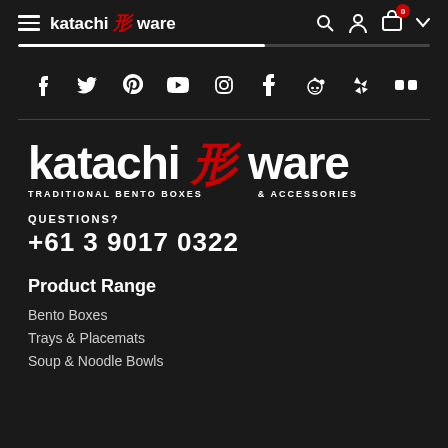katachi 形 ware — navigation header with hamburger menu, logo, search, account, cart (0), chevron
[Figure (screenshot): Social media icons row: Facebook, Twitter, Pinterest, YouTube, Instagram, Tumblr, Reddit, Yelp, Flickr]
[Figure (logo): katachi 形 ware large logo with tagline: TRADITIONAL BENTO BOXES & ACCESSORIES]
QUESTIONS?
+61 3 9017 0322
Product Range
Bento Boxes
Trays & Placemats
Soup & Noodle Bowls